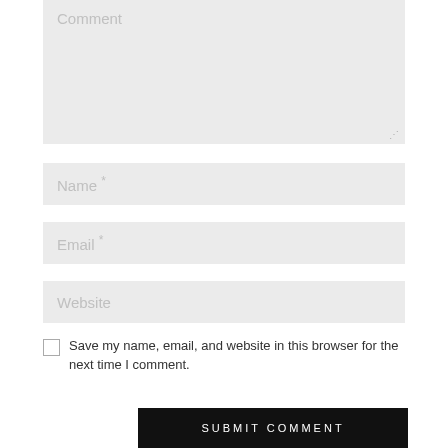Comment
Name *
Email *
Website
Save my name, email, and website in this browser for the next time I comment.
SUBMIT COMMENT